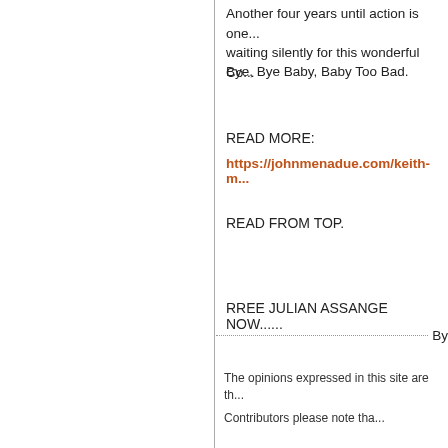Another four years until action is one... waiting silently for this wonderful Co...
Bye, Bye Baby, Baby Too Bad.
READ MORE:
https://johnmenadue.com/keith-m...
READ FROM TOP.
RREE JULIAN ASSANGE NOW......
By
The opinions expressed in this site are th...
Contributors please note tha...